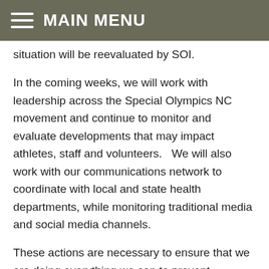MAIN MENU
situation will be reevaluated by SOI.
In the coming weeks, we will work with leadership across the Special Olympics NC movement and continue to monitor and evaluate developments that may impact athletes, staff and volunteers.   We will also work with our communications network to coordinate with local and state health departments, while monitoring traditional media and social media channels.
These actions are necessary to ensure that we are doing everything we can to prevent transmission of the virus. SOI has prepared a list of frequently asked questions that you can reference on the topic of virus prevention and control.
Should you learn of anybody in your community